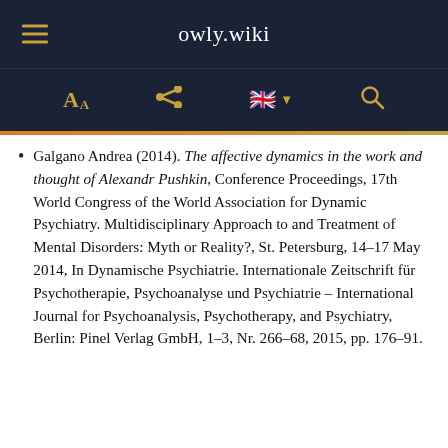owly.wiki
Galgano Andrea (2014). The affective dynamics in the work and thought of Alexandr Pushkin, Conference Proceedings, 17th World Congress of the World Association for Dynamic Psychiatry. Multidisciplinary Approach to and Treatment of Mental Disorders: Myth or Reality?, St. Petersburg, 14–17 May 2014, In Dynamische Psychiatrie. Internationale Zeitschrift für Psychotherapie, Psychoanalyse und Psychiatrie – International Journal for Psychoanalysis, Psychotherapy, and Psychiatry, Berlin: Pinel Verlag GmbH, 1–3, Nr. 266–68, 2015, pp. 176–91.